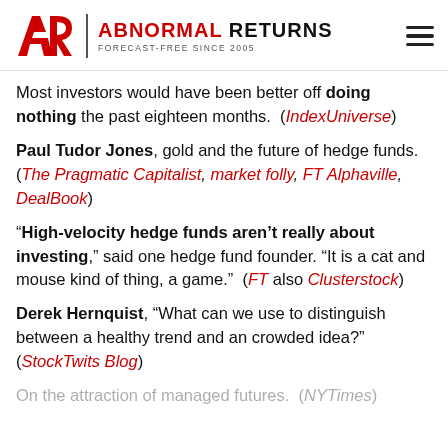[Figure (logo): Abnormal Returns logo with AR monogram, vertical divider, ABNORMAL RETURNS text in red and black, and FORECAST-FREE SINCE 2005 subtitle]
Most investors would have been better off doing nothing the past eighteen months. (IndexUniverse)
Paul Tudor Jones, gold and the future of hedge funds. (The Pragmatic Capitalist, market folly, FT Alphaville, DealBook)
“High-velocity hedge funds aren’t really about investing,” said one hedge fund founder. “It is a cat and mouse kind of thing, a game.” (FT also Clusterstock)
Derek Hernquist, “What can we use to distinguish between a healthy trend and an crowded idea?” (StockTwits Blog)
On the attraction of managed futures. (NYTimes)